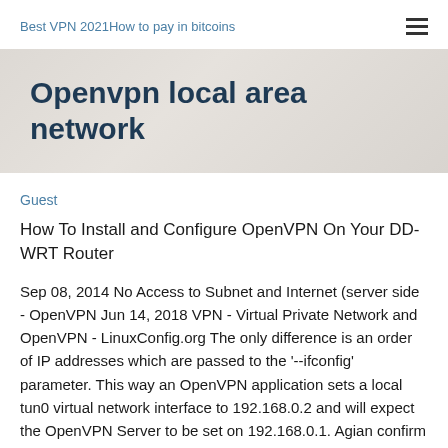Best VPN 2021How to pay in bitcoins
Openvpn local area network
Guest
How To Install and Configure OpenVPN On Your DD-WRT Router
Sep 08, 2014 No Access to Subnet and Internet (server side - OpenVPN Jun 14, 2018 VPN - Virtual Private Network and OpenVPN - LinuxConfig.org The only difference is an order of IP addresses which are passed to the '--ifconfig' parameter. This way an OpenVPN application sets a local tun0 virtual network interface to 192.168.0.2 and will expect the OpenVPN Server to be set on 192.168.0.1. Agian confirm a corectenss of